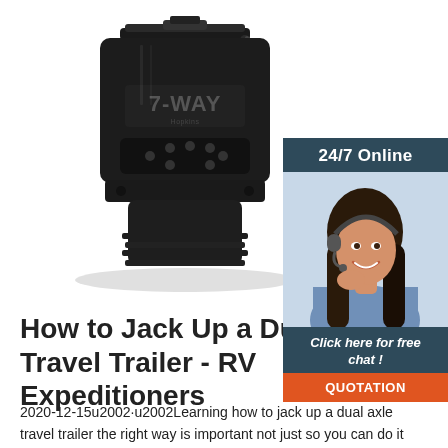[Figure (photo): A black 7-WAY trailer connector/plug product photo on white background]
[Figure (infographic): Chat widget with '24/7 Online' header, photo of a woman with headset smiling, 'Click here for free chat!' text, and an orange QUOTATION button]
How to Jack Up a Dual Axle Travel Trailer - RV Expeditioners
2020-12-15u2002·u2002Learning how to jack up a dual axle travel trailer the right way is important not just so you can do it safely, but also so that you can do it quickly and get right back on the